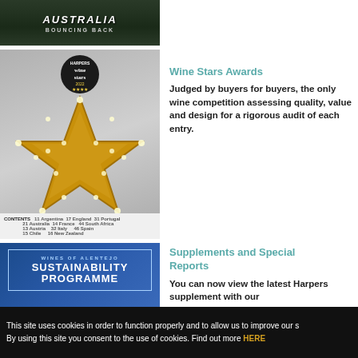[Figure (illustration): Partially visible magazine cover showing Australia Bouncing Back with dark green foliage background]
[Figure (illustration): Harpers Wine Stars 2022 magazine cover with large illuminated star and CONTENTS listing at bottom]
Wine Stars Awards
Judged by buyers for buyers, the only wine competition assessing quality, value and design for a rigorous audit of each entry.
[Figure (illustration): Wines of Alentejo Sustainability Programme supplement cover with blue background and white text]
Supplements and Special Reports
You can now view the latest Harpers supplement with our
This site uses cookies in order to function properly and to allow us to improve our s By using this site you consent to the use of cookies. Find out more HERE